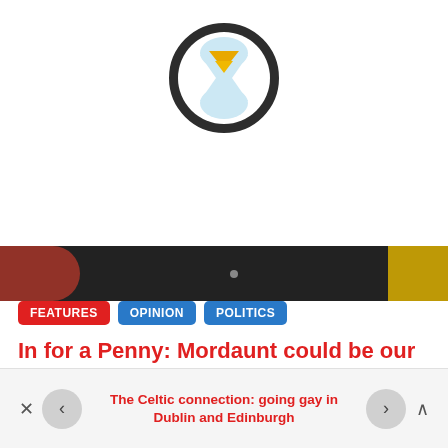[Figure (illustration): Hourglass icon with a golden/yellow downward triangle in the upper half and light blue sand in the lower half, with a dark circular border, on a white background.]
[Figure (photo): Partial photo strip showing blurred figures with red and yellow/black elements visible against a dark background.]
FEATURES   OPINION   POLITICS
In for a Penny: Mordaunt could be our most LGBT-friendly PM ever.
The Celtic connection: going gay in Dublin and Edinburgh